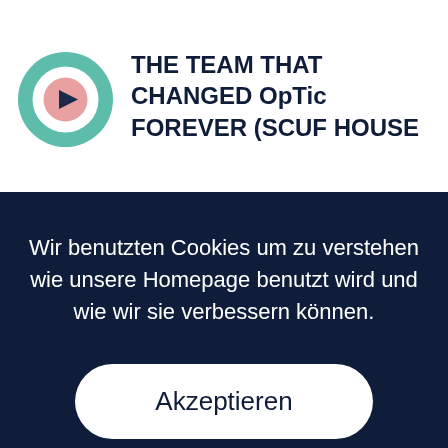[Figure (screenshot): Circular play button icon with teal/mint outer ring, white inner ring, and pink/salmon center with a dark play triangle]
THE TEAM THAT CHANGED OpTic FOREVER (SCUF HOUSE
Wir benutzten Cookies um zu verstehen wie unsere Homepage benutzt wird und wie wir sie verbessern können.
Akzeptieren
Einstellungen